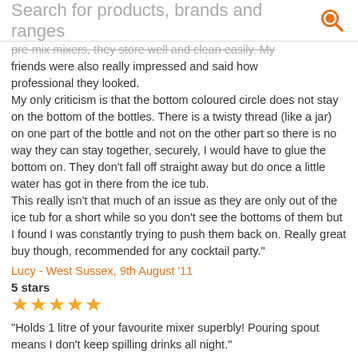Search for products, brands and ranges
pre-mix mixers, they store well and clean easily. My friends were also really impressed and said how professional they looked.
My only criticism is that the bottom coloured circle does not stay on the bottom of the bottles. There is a twisty thread (like a jar) on one part of the bottle and not on the other part so there is no way they can stay together, securely, I would have to glue the bottom on. They don't fall off straight away but do once a little water has got in there from the ice tub.
This really isn't that much of an issue as they are only out of the ice tub for a short while so you don't see the bottoms of them but I found I was constantly trying to push them back on. Really great buy though, recommended for any cocktail party."
Lucy - West Sussex, 9th August '11
5 stars
[Figure (other): Five orange star rating icons]
"Holds 1 litre of your favourite mixer superbly! Pouring spout means I don't keep spilling drinks all night."
Simon Paulton - St. Andrews, 6th April '10